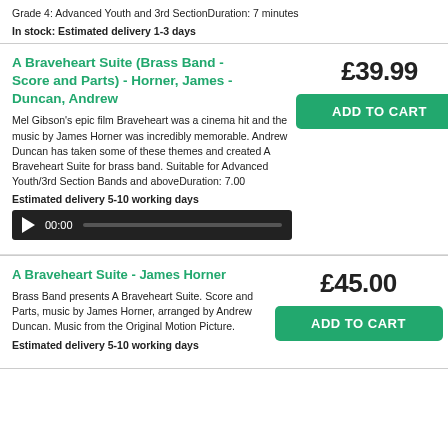Grade 4: Advanced Youth and 3rd SectionDuration: 7 minutes
In stock: Estimated delivery 1-3 days
A Braveheart Suite (Brass Band - Score and Parts) - Horner, James - Duncan, Andrew
£39.99
ADD TO CART
Mel Gibson's epic film Braveheart was a cinema hit and the music by James Horner was incredibly memorable. Andrew Duncan has taken some of these themes and created A Braveheart Suite for brass band. Suitable for Advanced Youth/3rd Section Bands and aboveDuration: 7.00
Estimated delivery 5-10 working days
[Figure (other): Audio player showing 00:00 timestamp with play button and progress bar]
A Braveheart Suite - James Horner
£45.00
ADD TO CART
Brass Band presents A Braveheart Suite. Score and Parts, music by James Horner, arranged by Andrew Duncan. Music from the Original Motion Picture.
Estimated delivery 5-10 working days